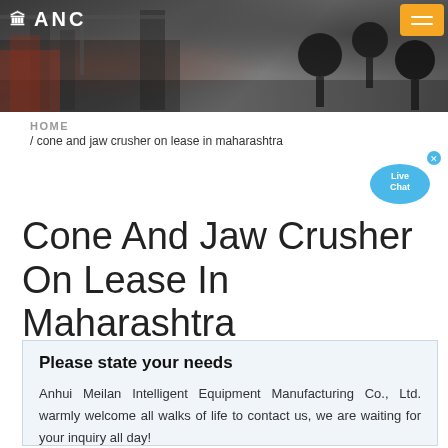[Figure (photo): Factory/industrial background banner with ANC logo and orange hamburger menu button]
HOME / cone and jaw crusher on lease in maharashtra
Cone And Jaw Crusher On Lease In Maharashtra
Please state your needs
Anhui Meilan Intelligent Equipment Manufacturing Co., Ltd. warmly welcome all walks of life to contact us, we are waiting for your inquiry all day!